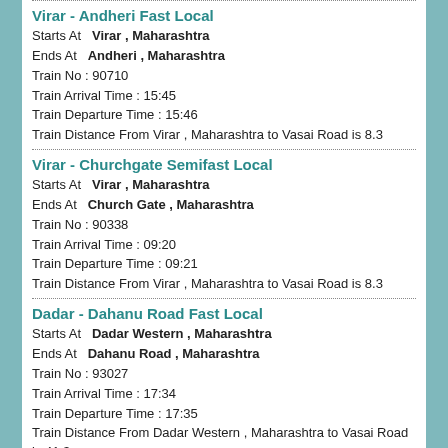Virar - Andheri Fast Local
Starts At   Virar , Maharashtra
Ends At   Andheri , Maharashtra
Train No : 90710
Train Arrival Time : 15:45
Train Departure Time : 15:46
Train Distance From Virar , Maharashtra to Vasai Road is 8.3
Virar - Churchgate Semifast Local
Starts At   Virar , Maharashtra
Ends At   Church Gate , Maharashtra
Train No : 90338
Train Arrival Time : 09:20
Train Departure Time : 09:21
Train Distance From Virar , Maharashtra to Vasai Road is 8.3
Dadar - Dahanu Road Fast Local
Starts At   Dadar Western , Maharashtra
Ends At   Dahanu Road , Maharashtra
Train No : 93027
Train Arrival Time : 17:34
Train Departure Time : 17:35
Train Distance From Dadar Western , Maharashtra to Vasai Road is 41.3
Borivali - Virar Slow Local